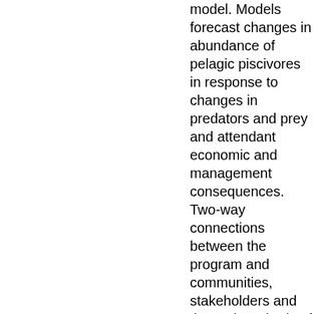model. Models forecast changes in abundance of pelagic piscivores in response to changes in predators and prey and attendant economic and management consequences. Two-way connections between the program and communities, stakeholders and the region's body of local and traditional knowledge are enabled by outreach, education and community involvement projects. Products of the project enable testing and improved understanding of effects of climate change and management actions